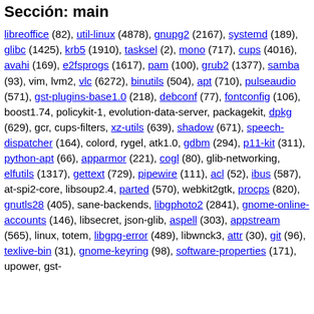Sección: main
libreoffice (82), util-linux (4878), gnupg2 (2167), systemd (189), glibc (1425), krb5 (1910), tasksel (2), mono (717), cups (4016), avahi (169), e2fsprogs (1617), pam (100), grub2 (1377), samba (93), vim, lvm2, vlc (6272), binutils (504), apt (710), pulseaudio (571), gst-plugins-base1.0 (218), debconf (77), fontconfig (106), boost1.74, policykit-1, evolution-data-server, packagekit, dpkg (629), gcr, cups-filters, xz-utils (639), shadow (671), speech-dispatcher (164), colord, rygel, atk1.0, gdbm (294), p11-kit (311), python-apt (66), apparmor (221), cogl (80), glib-networking, elfutils (1317), gettext (729), pipewire (111), acl (52), ibus (587), at-spi2-core, libsoup2.4, parted (570), webkit2gtk, procps (820), gnutls28 (405), sane-backends, libgphoto2 (2841), gnome-online-accounts (146), libsecret, json-glib, aspell (303), appstream (565), linux, totem, libgpg-error (489), libwnck3, attr (30), git (96), texlive-bin (31), gnome-keyring (98), software-properties (171), upower, gst-